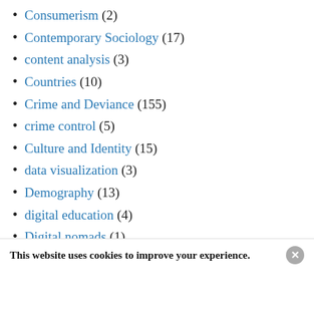Consumerism (2)
Contemporary Sociology (17)
content analysis (3)
Countries (10)
Crime and Deviance (155)
crime control (5)
Culture and Identity (15)
data visualization (3)
Demography (13)
digital education (4)
Digital nomads (1)
Digital sociology (1)
This website uses cookies to improve your experience.
[Figure (photo): Advertisement banner showing airplane and cargo loading scene with text overlay]